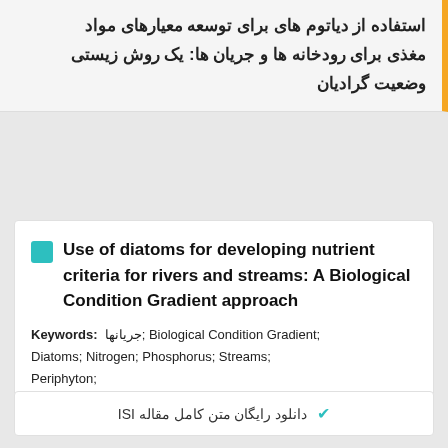استفاده از دیاتوم های برای توسعه معیارهای مواد مغذی برای رودخانه ها و جریان ها: یک روش زیستی وضعیت گرادیان
Use of diatoms for developing nutrient criteria for rivers and streams: A Biological Condition Gradient approach
Keywords: جریانها; Biological Condition Gradient; Diatoms; Nitrogen; Phosphorus; Streams; Periphyton;
دانلود رایگان متن کامل مقاله ISI